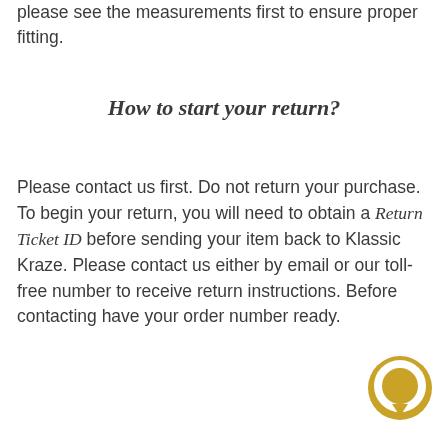please see the measurements first to ensure proper fitting.
How to start your return?
Please contact us first. Do not return your purchase. To begin your return, you will need to obtain a Return Ticket ID before sending your item back to Klassic Kraze. Please contact us either by email or our toll-free number to receive return instructions. Before contacting have your order number ready.
[Figure (illustration): Gold/yellow circular chat bubble icon in bottom right corner]
Refund (if applicable)